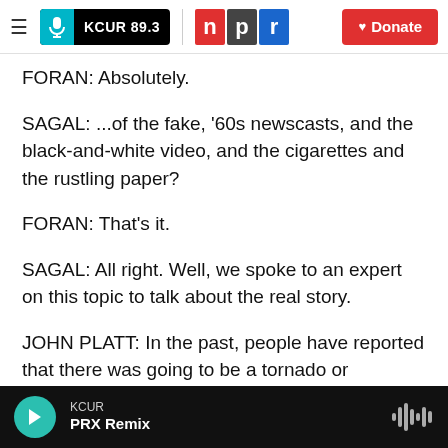KCUR 89.3 | npr | Donate
FORAN: Absolutely.
SAGAL: ...of the fake, '60s newscasts, and the black-and-white video, and the cigarettes and the rustling paper?
FORAN: That's it.
SAGAL: All right. Well, we spoke to an expert on this topic to talk about the real story.
JOHN PLATT: In the past, people have reported that there was going to be a tornado or something like that, and those things didn't happen. So they're
KCUR PRX Remix